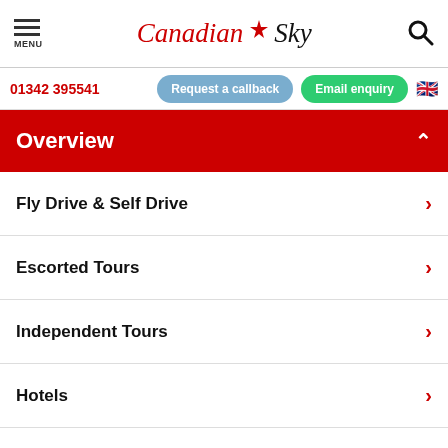MENU | Canadian Sky | Search
01342 395541  Request a callback  Email enquiry
Overview
Fly Drive & Self Drive
Escorted Tours
Independent Tours
Hotels
Inspiration
inspired travel with our expertise